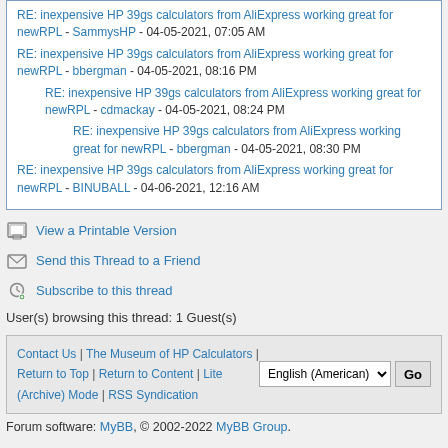RE: inexpensive HP 39gs calculators from AliExpress working great for newRPL - SammysHP - 04-05-2021, 07:05 AM
RE: inexpensive HP 39gs calculators from AliExpress working great for newRPL - bbergman - 04-05-2021, 08:16 PM
RE: inexpensive HP 39gs calculators from AliExpress working great for newRPL - cdmackay - 04-05-2021, 08:24 PM
RE: inexpensive HP 39gs calculators from AliExpress working great for newRPL - bbergman - 04-05-2021, 08:30 PM
RE: inexpensive HP 39gs calculators from AliExpress working great for newRPL - BINUBALL - 04-06-2021, 12:16 AM
View a Printable Version
Send this Thread to a Friend
Subscribe to this thread
User(s) browsing this thread: 1 Guest(s)
Contact Us | The Museum of HP Calculators | Return to Top | Return to Content | Lite (Archive) Mode | RSS Syndication  English (American) Go
Forum software: MyBB, © 2002-2022 MyBB Group.